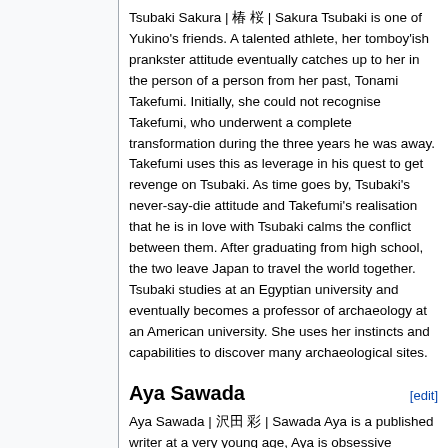Tsubaki Sakura | 椿 桜 | Sakura Tsubaki is one of Yukino's friends. A talented athlete, her tomboy'ish prankster attitude eventually catches up to her in the person of a person from her past, Tonami Takefumi. Initially, she could not recognise Takefumi, who underwent a complete transformation during the three years he was away. Takefumi uses this as leverage in his quest to get revenge on Tsubaki. As time goes by, Tsubaki's never-say-die attitude and Takefumi's realisation that he is in love with Tsubaki calms the conflict between them. After graduating from high school, the two leave Japan to travel the world together. Tsubaki studies at an Egyptian university and eventually becomes a professor of archaeology at an American university. She uses her instincts and capabilities to discover many archaeological sites.
Aya Sawada
Aya Sawada | 沢田 彩 | Sawada Aya is a published writer at a very young age, Aya is obsessive